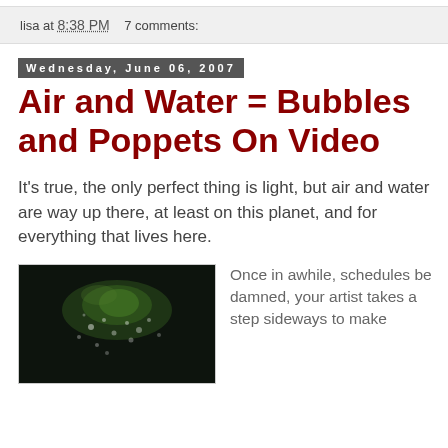lisa at 8:38 PM   7 comments:
Wednesday, June 06, 2007
Air and Water = Bubbles and Poppets On Video
It's true, the only perfect thing is light, but air and water are way up there, at least on this planet, and for everything that lives here.
[Figure (photo): Dark underwater photograph showing bubbles and green-lit particles in dark water]
Once in awhile, schedules be damned, your artist takes a step sideways to make